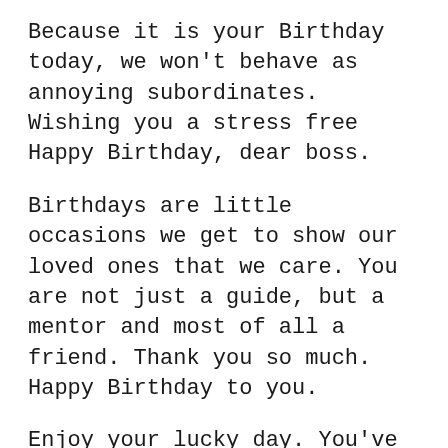Because it is your Birthday today, we won't behave as annoying subordinates. Wishing you a stress free Happy Birthday, dear boss.
Birthdays are little occasions we get to show our loved ones that we care. You are not just a guide, but a mentor and most of all a friend. Thank you so much. Happy Birthday to you.
Enjoy your lucky day. You've been promoted to one more happy year in your life! Happy Birthday to you and all the best for yet another fantastic year in your professional and personal life.
Happy Birthday boss, I'll get right back to work